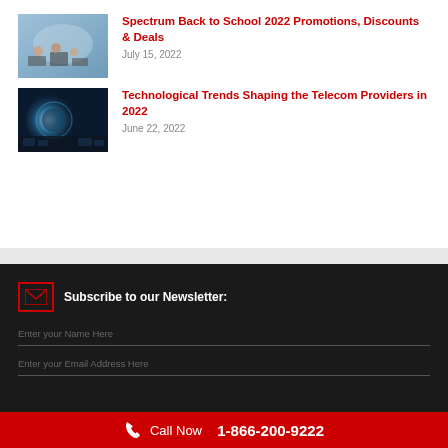[Figure (photo): Thumbnail image of students sitting on the floor with a laptop, back to school theme]
Spectrum Back to School 2022 Promotions, Discounts & Deals
July 15, 2022
[Figure (photo): Thumbnail image of a digital globe and city lights, technology/telecom theme]
Technological Trends Shaping the Telecom Providers in 2022
June 22, 2022
Subscribe to our Newsletter:
Enter your Name Here
Enter your Email Address Here
Call Now 1-866-200-9222